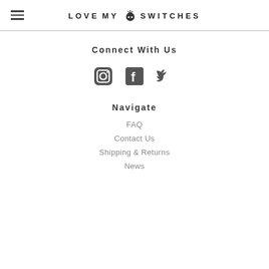LOVE MY SWITCHES
Connect With Us
[Figure (illustration): Three social media icons: Instagram, Facebook, Twitter]
Navigate
FAQ
Contact Us
Shipping & Returns
News